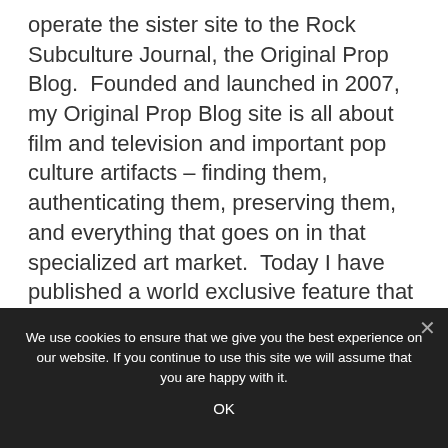operate the sister site to the Rock Subculture Journal, the Original Prop Blog.  Founded and launched in 2007, my Original Prop Blog site is all about film and television and important pop culture artifacts – finding them, authenticating them, preserving them, and everything that goes on in that specialized art market.  Today I have published a world exclusive feature that shares my video interviews with Colin Cantwell, who worked on many important movies and TV shows like Star Wars: A New Hope, 2001: A Space Odyssey, Close Encounters of the Third
We use cookies to ensure that we give you the best experience on our website. If you continue to use this site we will assume that you are happy with it.
OK